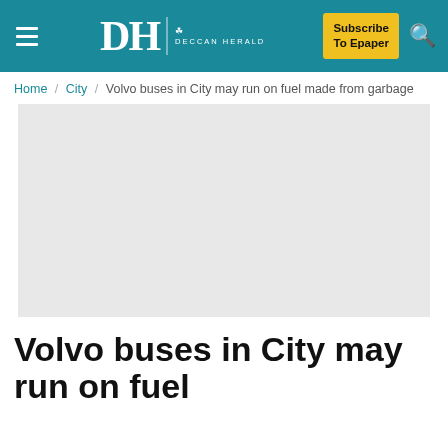Deccan Herald — Subscribe To Epaper
Home / City / Volvo buses in City may run on fuel made from garbage
[Figure (photo): Large grey placeholder image (advertisement or article image not loaded)]
Volvo buses in City may run on fuel